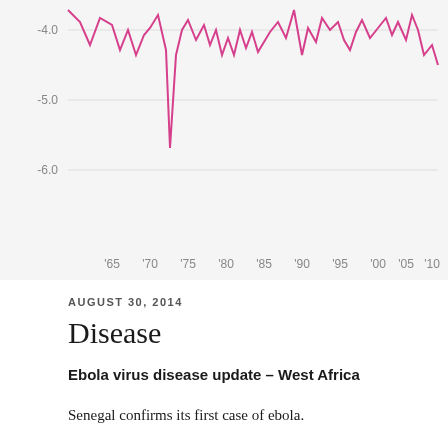[Figure (continuous-plot): Line chart showing data from approximately 1963 to 2012, with y-axis values from about -6.0 to -4.0 (and higher). A pink/magenta jagged line fluctuates across the time period. X-axis shows years: '65, '70, '75, '80, '85, '90, '95, '00, '05, '10. Y-axis shows values -4.0, -5.0, -6.0. Credit: Quartz | qz.com, Data: Stockholm University.]
AUGUST 30, 2014
Disease
Ebola virus disease update – West Africa
Senegal confirms its first case of ebola.
Liberia says it will open up a slum in its capital where thousands of people were barricaded to contain the spread of Ebola. The slum of 50,000 people in Liberia's capital was sealed off more than a week ago, sparking